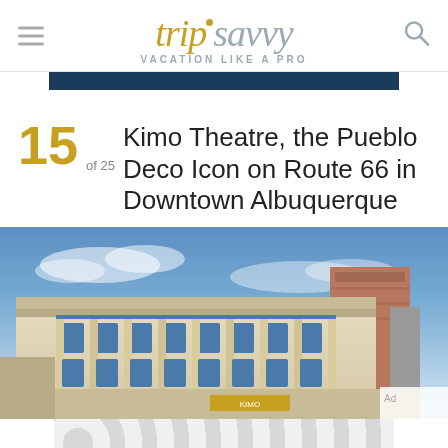tripsavvy VACATION LIKE A PRO
15 of 25 Kimo Theatre, the Pueblo Deco Icon on Route 66 in Downtown Albuquerque
[Figure (photo): Exterior photo of the Kimo Theatre, a Pueblo Deco style building in downtown Albuquerque under a blue sky, with ornate facade details and blue-framed windows]
[Figure (other): Advertisement banner with a repeating circle/dot pattern in gray and white]